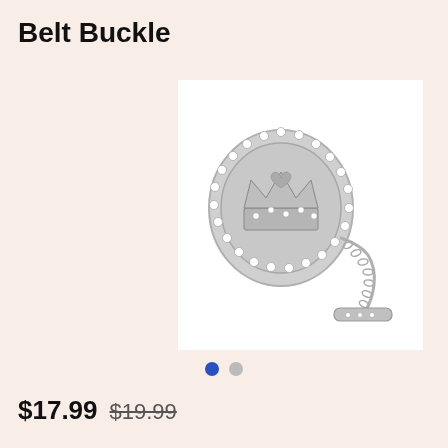Belt Buckle
[Figure (photo): Silver oval belt buckle with rhinestone border and crown motif, accompanied by a decorative chain and bar attachment, on a white background.]
$17.99 $19.99